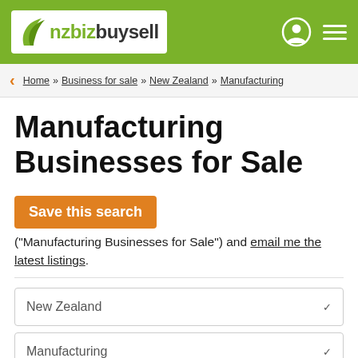nzbizbuysell
Home » Business for sale » New Zealand » Manufacturing
Manufacturing Businesses for Sale
Save this search ("Manufacturing Businesses for Sale") and email me the latest listings.
New Zealand
Manufacturing
Min $ | Max $